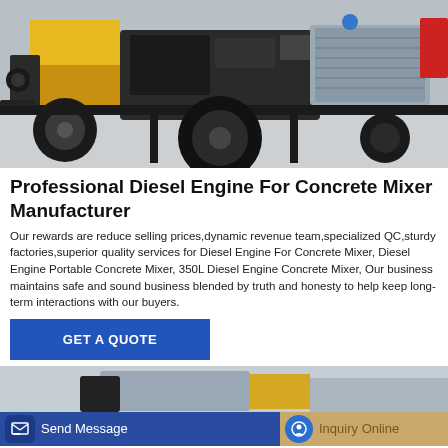[Figure (photo): Yellow and black diesel engine concrete mixer machine on a trailer with large tires, photographed on a concrete floor in a warehouse or factory.]
Professional Diesel Engine For Concrete Mixer Manufacturer
Our rewards are reduce selling prices,dynamic revenue team,specialized QC,sturdy factories,superior quality services for Diesel Engine For Concrete Mixer, Diesel Engine Portable Concrete Mixer, 350L Diesel Engine Concrete Mixer, Our business maintains safe and sound business blended by truth and honesty to help keep long-term interactions with our buyers.
GET A QUOTE
[Figure (photo): Partial view of a concrete mixer machine component visible at the bottom of the page, partially cut off.]
Send Message
Inquiry Online